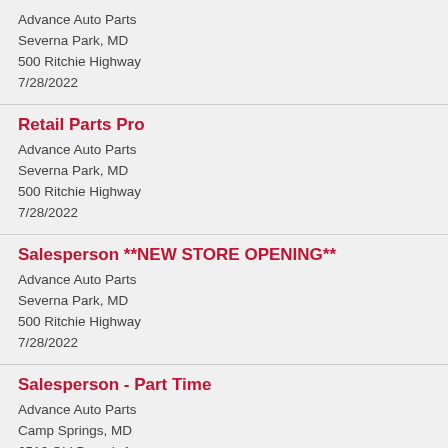Advance Auto Parts
Severna Park, MD
500 Ritchie Highway
7/28/2022
Retail Parts Pro
Advance Auto Parts
Severna Park, MD
500 Ritchie Highway
7/28/2022
Salesperson **NEW STORE OPENING**
Advance Auto Parts
Severna Park, MD
500 Ritchie Highway
7/28/2022
Salesperson - Part Time
Advance Auto Parts
Camp Springs, MD
6516 Old Branch Avenue
7/28/2022
Salesperson